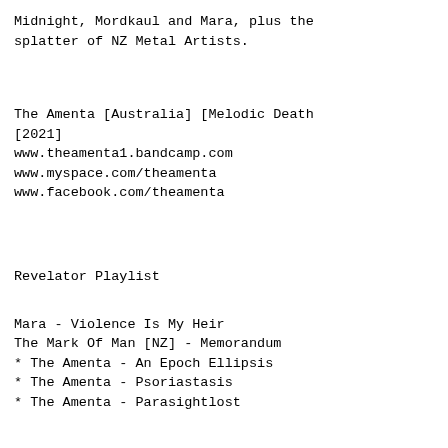Midnight, Mordkaul and Mara, plus the splatter of NZ Metal Artists.
The Amenta [Australia] [Melodic Death [2021]
www.theamenta1.bandcamp.com
www.myspace.com/theamenta
www.facebook.com/theamenta
Revelator Playlist
Mara - Violence Is My Heir
The Mark Of Man [NZ] - Memorandum
* The Amenta - An Epoch Ellipsis
* The Amenta - Psoriastasis
* The Amenta - Parasightlost